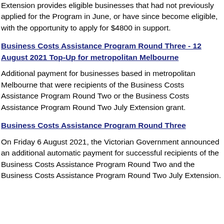The Business Costs Assistance Program Round Two July Extension provides eligible businesses that had not previously applied for the Program in June, or have since become eligible, with the opportunity to apply for $4800 in support.
Business Costs Assistance Program Round Three - 12 August 2021 Top-Up for metropolitan Melbourne
Additional payment for businesses based in metropolitan Melbourne that were recipients of the Business Costs Assistance Program Round Two or the Business Costs Assistance Program Round Two July Extension grant.
Business Costs Assistance Program Round Three
On Friday 6 August 2021, the Victorian Government announced an additional automatic payment for successful recipients of the Business Costs Assistance Program Round Two and the Business Costs Assistance Program Round Two July Extension.